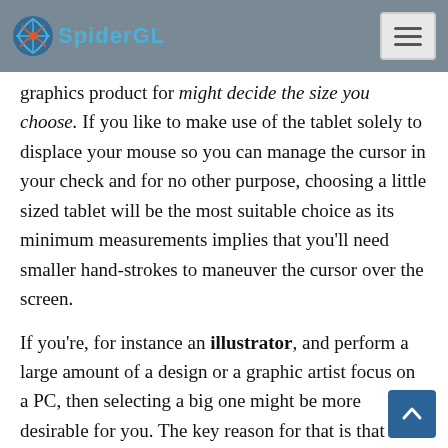SpiderGL
graphics product for might decide the size you choose. If you like to make use of the tablet solely to displace your mouse so you can manage the cursor in your check and for no other purpose, choosing a little sized tablet will be the most suitable choice as its minimum measurements implies that you'll need smaller hand-strokes to maneuver the cursor over the screen.
If you're, for instance an illustrator, and perform a large amount of a design or a graphic artist focus on a PC, then selecting a big one might be more desirable for you. The key reason for that is that design focus on a PC can occasionally need detailed